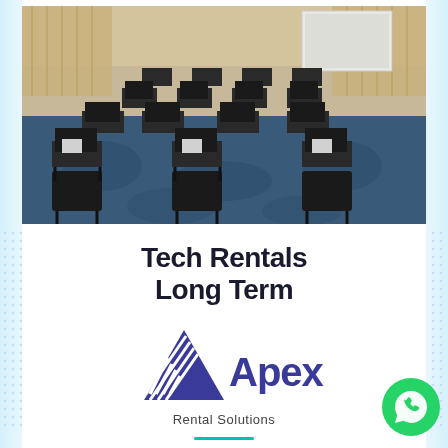[Figure (photo): Conference room set up in classroom style with rows of black desks and chairs, laptops on each desk, patterned blue carpet, curtains in background, and a projection screen at the front.]
Tech Rentals Long Term
[Figure (logo): Apex Rental Solutions logo: a blue triangle/pyramid shape with horizontal white stripes on the left side, next to bold blue text 'Apex' and smaller text 'Rental Solutions' below.]
[Figure (other): WhatsApp green circle icon with white chat bubble and phone handset symbol, positioned bottom-right corner.]